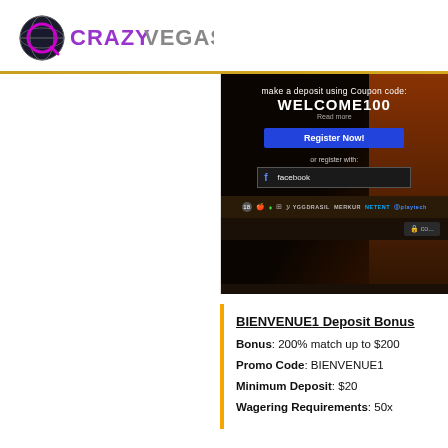[Figure (logo): Crazy Vegas casino logo with globe icon and purple/silver text]
[Figure (screenshot): Casino website screenshot showing coupon code WELCOME100, Register Now button, or register with Facebook option, and provider logos including NETENT, Playtech, Yggdrasil, Merkur]
BIENVENUE1 Deposit Bonus
Bonus: 200% match up to $200
Promo Code:  BIENVENUE1
Minimum Deposit: $20
Wagering Requirements: 50x